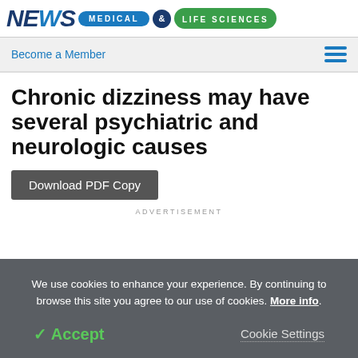NEWS MEDICAL & LIFE SCIENCES
Become a Member
Chronic dizziness may have several psychiatric and neurologic causes
Download PDF Copy
ADVERTISEMENT
We use cookies to enhance your experience. By continuing to browse this site you agree to our use of cookies. More info.
✓ Accept
Cookie Settings